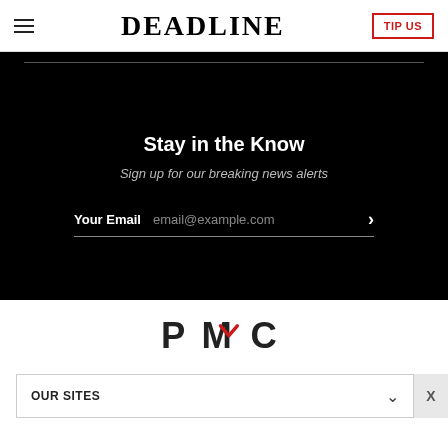DEADLINE
Stay in the Know
Sign up for our breaking news alerts
Your Email  email@example.com
[Figure (logo): PMC logo with red chevron accent]
OUR SITES